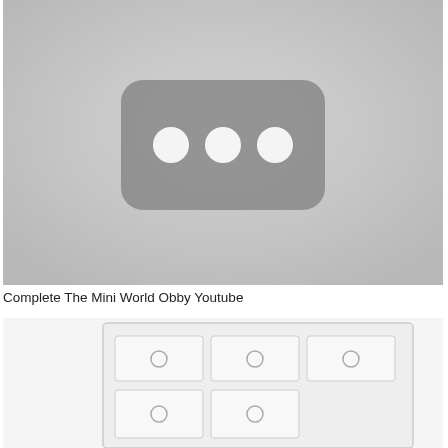[Figure (screenshot): YouTube video thumbnail placeholder showing a dark rounded rectangle with three white circles (dots) on a light grey gradient background]
Complete The Mini World Obby Youtube
[Figure (photo): Partially visible image of a white dresser or chest of drawers with multiple drawers each having circular knobs, shown on white background]